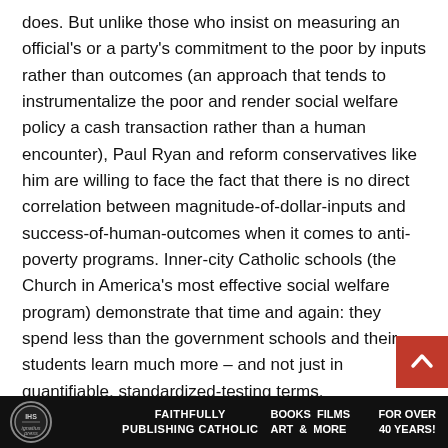does. But unlike those who insist on measuring an official's or a party's commitment to the poor by inputs rather than outcomes (an approach that tends to instrumentalize the poor and render social welfare policy a cash transaction rather than a human encounter), Paul Ryan and reform conservatives like him are willing to face the fact that there is no direct correlation between magnitude-of-dollar-inputs and success-of-human-outcomes when it comes to anti-poverty programs. Inner-city Catholic schools (the Church in America's most effective social welfare program) demonstrate that time and again: they spend less than the government schools and their students learn much more – and not just in quantifiable, standardized-testing terms.

America needs many serious conversations in this age of the demagogic tweet and the rabid, talk-radio sound-bite. One of them is about the scandal of poverty amidst vast wealth and the empowerment of the poor. That conversation is not advanced when, as happened after the CNN broadcast,
IHS Ignatius Press  FAITHFULLY PUBLISHING CATHOLIC  BOOKS FILMS ART & MORE  FOR OVER 40 YEARS!